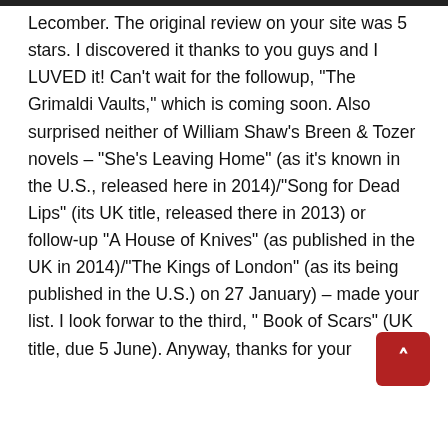Lecomber. The original review on your site was 5 stars. I discovered it thanks to you guys and I LUVED it! Can't wait for the followup, “The Grimaldi Vaults,” which is coming soon. Also surprised neither of William Shaw’s Breen & Tozer novels – “She’s Leaving Home” (as it’s known in the U.S., released here in 2014)/“Song for Dead Lips” (its UK title, released there in 2013) or follow-up “A House of Knives” (as published in the UK in 2014)/“The Kings of London” (as its being published in the U.S.) on 27 January) – made your list. I look forward to the third, “ Book of Scars” (UK title, due 5 June). Anyway, thanks for your